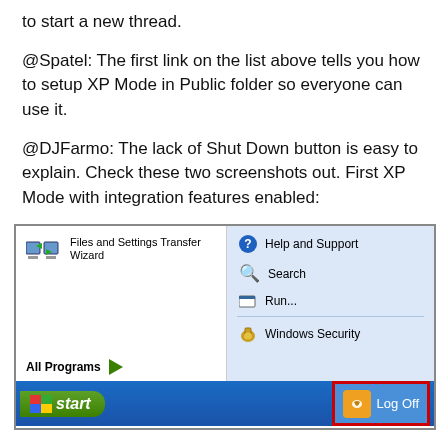to start a new thread.
@Spatel: The first link on the list above tells you how to setup XP Mode in Public folder so everyone can use it.
@DJFarmo: The lack of Shut Down button is easy to explain. Check these two screenshots out. First XP Mode with integration features enabled:
[Figure (screenshot): Windows XP Start Menu showing Files and Settings Transfer Wizard, All Programs button, and right panel with Help and Support, Search, Run, Windows Security, and a highlighted Log Off button. The XP taskbar is visible at the bottom with the Start button.]